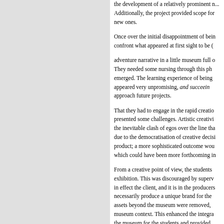the development of a relatively prominent n... Additionally, the project provided scope for new ones. Once over the initial disappointment of being confront what appeared at first sight to be ( adventure narrative in a little museum full o They needed some nursing through this ph emerged. The learning experience of being appeared very unpromising, and succeeding approach future projects. That they had to engage in the rapid creatio presented some challenges. Artistic creativi the inevitable clash of egos over the line tha due to the democratisation of creative decisi product; a more sophisticated outcome wou which could have been more forthcoming in From a creative point of view, the students exhibition. This was discouraged by superv in effect the client, and it is in the producers necessarily produce a unique brand for the assets beyond the museum were removed, museum context. This enhanced the integra the museum for the students and provided